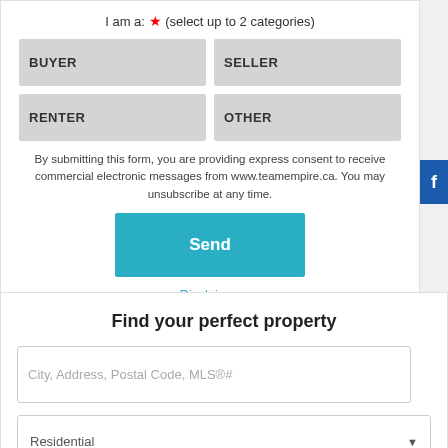I am a: * (select up to 2 categories)
BUYER
SELLER
RENTER
OTHER
By submitting this form, you are providing express consent to receive commercial electronic messages from www.teamempire.ca. You may unsubscribe at any time.
Send
Disclaimer
Find your perfect property
City, Address, Postal Code, MLS®#
Residential